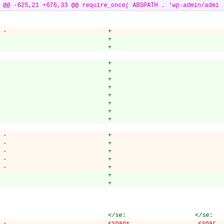@@ -625,21 +676,33 @@ require_once( ABSPATH . 'wp-admin/admi
Diff view showing removed lines (red -) and added lines (green +) for a code change from lines -625,21 to +676,33, with HTML tag fragments visible at the bottom.